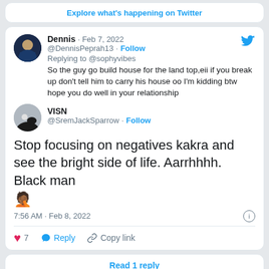Explore what's happening on Twitter
Dennis · Feb 7, 2022
@DennisPeprah13 · Follow
Replying to @sophyvibes
So the guy go build house for the land top,eii if you break up don't tell him to carry his house oo I'm kidding btw hope you do well in your relationship
VISN
@SremJackSparrow · Follow
Stop focusing on negatives kakra and see the bright side of life. Aarrhhhh. Black man 🤦🏾
7:56 AM · Feb 8, 2022
♥ 7   Reply   Copy link
Read 1 reply